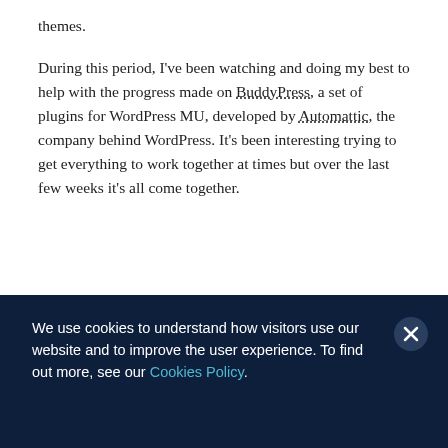themes.

During this period, I've been watching and doing my best to help with the progress made on BuddyPress, a set of plugins for WordPress MU, developed by Automattic, the company behind WordPress. It's been interesting trying to get everything to work together at times but over the last few weeks it's all come together.
We use cookies to understand how visitors use our website and to improve the user experience. To find out more, see our Cookies Policy.